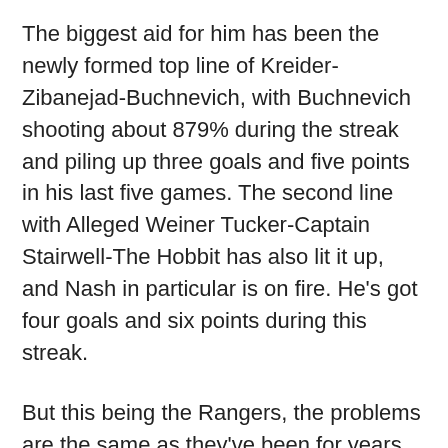The biggest aid for him has been the newly formed top line of Kreider-Zibanejad-Buchnevich, with Buchnevich shooting about 879% during the streak and piling up three goals and five points in his last five games. The second line with Alleged Weiner Tucker-Captain Stairwell-The Hobbit has also lit it up, and Nash in particular is on fire. He's got four goals and six points during this streak.
But this being the Rangers, the problems are the same as they've been for years. They don't have a real #1 center, or maybe any centers at all. They're a team filled with fast, small wingers you'd probably confuse in a lineup, save Nash. There's a nifty fourth line here with Michael Grabner pouring in the goals again, and at least Alain Vigneault is fine with making his fourth line fast and